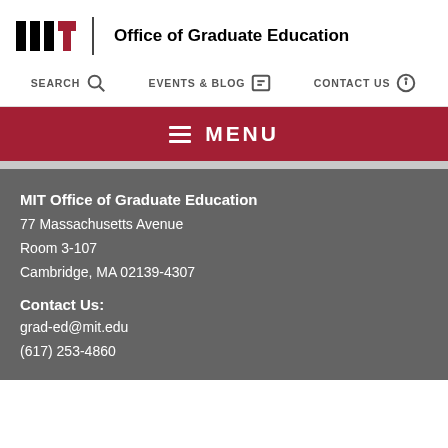MIT Office of Graduate Education
SEARCH  EVENTS & BLOG  CONTACT US
≡ MENU
MIT Office of Graduate Education
77 Massachusetts Avenue
Room 3-107
Cambridge, MA 02139-4307
Contact Us:
grad-ed@mit.edu
(617) 253-4860